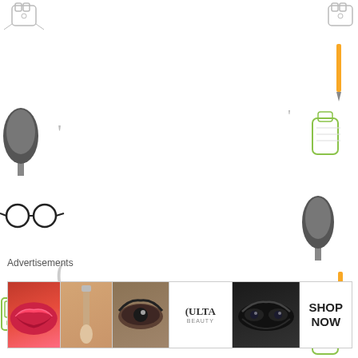pm
He had such a sexy ass look Army boots, jacket, lived in tee but I also dig Daniels look too : skull cap, sweater
[Figure (illustration): Decorative page border with illustrations of trees, glasses, typewriters, cats, and other objects on left and right sides]
Advertisements
[Figure (photo): ULTA beauty advertisement banner showing close-up photos of lips with lipstick, makeup brush, eye with makeup, ULTA logo, dark smoky eyes, and SHOP NOW text]